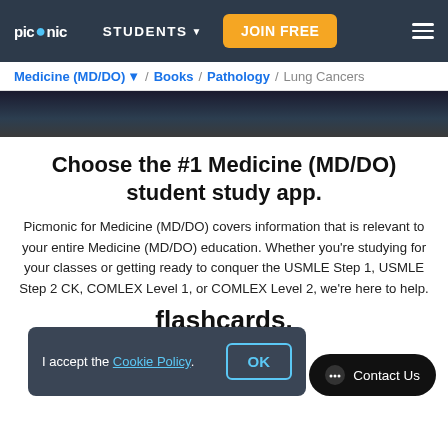picmonic | STUDENTS ▼ | JOIN FREE
Medicine (MD/DO) ▼ / Books / Pathology / Lung Cancers
[Figure (photo): Dark banner/hero image strip at top of page content area]
Choose the #1 Medicine (MD/DO) student study app.
Picmonic for Medicine (MD/DO) covers information that is relevant to your entire Medicine (MD/DO) education. Whether you're studying for your classes or getting ready to conquer the USMLE Step 1, USMLE Step 2 CK, COMLEX Level 1, or COMLEX Level 2, we're here to help.
flashcards.
I accept the Cookie Policy.
OK
Contact Us